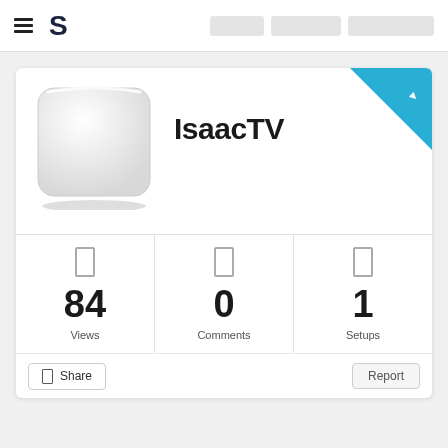S (logo/brand navigation bar)
[Figure (screenshot): IsaacTV profile card showing avatar image (white rounded square icon), username IsaacTV, stats: 84 Views, 0 Comments, 1 Setups, with Share and Report buttons. A cyan diagonal ribbon in the top-right corner of the card.]
IsaacTV
84 Views
0 Comments
1 Setups